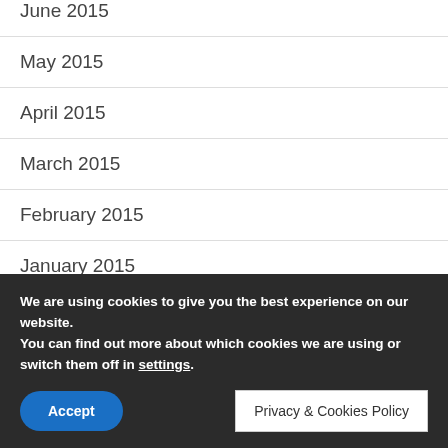June 2015
May 2015
April 2015
March 2015
February 2015
January 2015
December 2014
We are using cookies to give you the best experience on our website.
You can find out more about which cookies we are using or switch them off in settings.